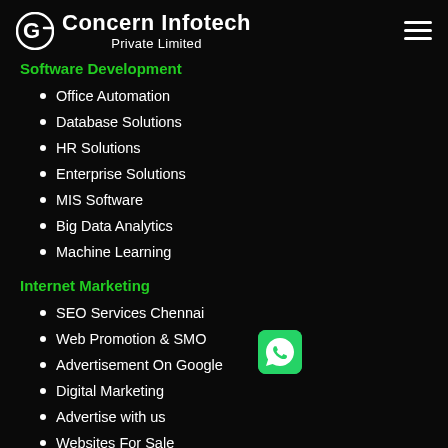Concern Infotech Private Limited
Software Development
Office Automation
Database Solutions
HR Solutions
Enterprise Solutions
MIS Software
Big Data Analytics
Machine Learning
Internet Marketing
SEO Services Chennai
Web Promotion & SMO
Advertisement On Google
Digital Marketing
Advertise with us
Websites For Sale